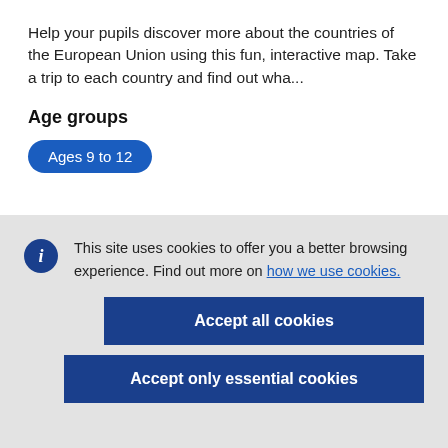Help your pupils discover more about the countries of the European Union using this fun, interactive map. Take a trip to each country and find out wha...
Age groups
Ages 9 to 12
This site uses cookies to offer you a better browsing experience. Find out more on how we use cookies.
Accept all cookies
Accept only essential cookies